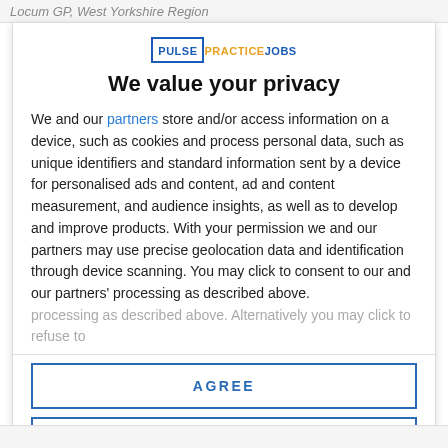Locum GP, West Yorkshire Region
[Figure (logo): PulsePracticeJobs logo — PULSE in blue box, PRACTICE in orange, JOBS in blue]
We value your privacy
We and our partners store and/or access information on a device, such as cookies and process personal data, such as unique identifiers and standard information sent by a device for personalised ads and content, ad and content measurement, and audience insights, as well as to develop and improve products. With your permission we and our partners may use precise geolocation data and identification through device scanning. You may click to consent to our and our partners' processing as described above. Alternatively you may click to refuse to
AGREE
MORE OPTIONS
DISAGREE